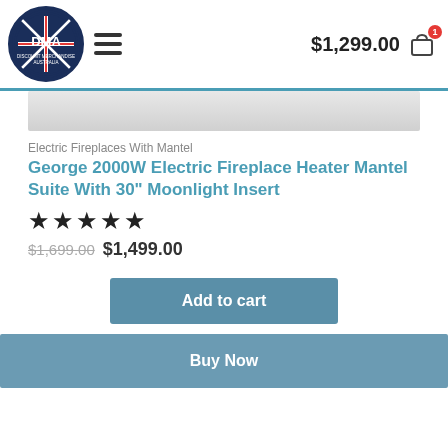$1,299.00
[Figure (screenshot): Product image strip showing top portion of electric fireplace heater, light grey/white color]
Electric Fireplaces With Mantel
George 2000W Electric Fireplace Heater Mantel Suite With 30" Moonlight Insert
★★★★★
$1,699.00 $1,499.00
Add to cart
Buy Now